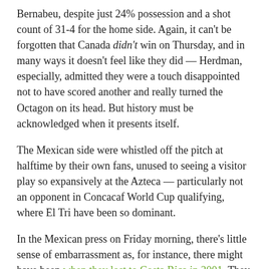Bernabeu, despite just 24% possession and a shot count of 31-4 for the home side. Again, it can't be forgotten that Canada didn't win on Thursday, and in many ways it doesn't feel like they did — Herdman, especially, admitted they were a touch disappointed not to have scored another and really turned the Octagon on its head. But history must be acknowledged when it presents itself.
The Mexican side were whistled off the pitch at halftime by their own fans, unused to seeing a visitor play so expansively at the Azteca — particularly not an opponent in Concacaf World Cup qualifying, where El Tri have been so dominant.
In the Mexican press on Friday morning, there's little sense of embarrassment as, for instance, there might have been when they lost to Costa Rica in 2001. They didn't lose, of course — this was not a toothless performance from the home side — but it's undeniably a stunning result. Still, the prevailing narrative, even on television